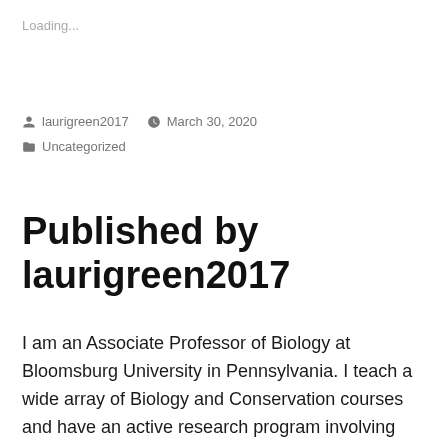Loading...
laurigreen2017   March 30, 2020   Uncategorized
Published by laurigreen2017
I am an Associate Professor of Biology at Bloomsburg University in Pennsylvania. I teach a wide array of Biology and Conservation courses and have an active research program involving wetlands and Tree Swallows. View more posts